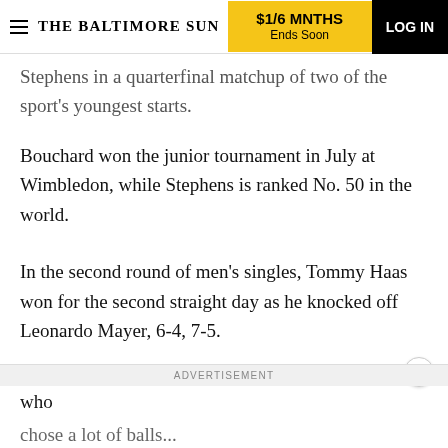THE BALTIMORE SUN | $1/6 MNTHS Ends Soon | LOG IN
Stephens in a quarterfinal matchup of two of the sport's youngest starts.
Bouchard won the junior tournament in July at Wimbledon, while Stephens is ranked No. 50 in the world.
In the second round of men's singles, Tommy Haas won for the second straight day as he knocked off Leonardo Mayer, 6-4, 7-5.
He said he knew Mayer was an aggressive player who
chose a lot of balls...
ADVERTISEMENT